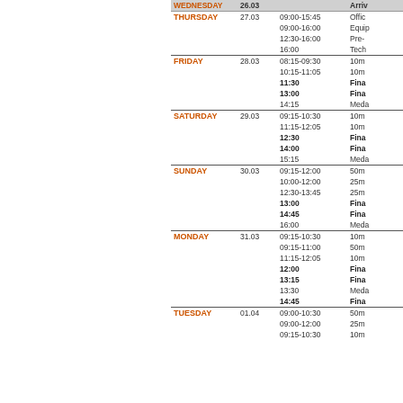| Day | Date | Time | Event |
| --- | --- | --- | --- |
| WEDNESDAY | 26.03 |  | Arriv... |
| THURSDAY | 27.03 | 09:00-15:45 | Offic... |
|  |  | 09:00-16:00 | Equip... |
|  |  | 12:30-16:00 | Pre-... |
|  |  | 16:00 | Tech... |
| FRIDAY | 28.03 | 08:15-09:30 | 10m... |
|  |  | 10:15-11:05 | 10m... |
|  |  | 11:30 | Final... |
|  |  | 13:00 | Final... |
|  |  | 14:15 | Meda... |
| SATURDAY | 29.03 | 09:15-10:30 | 10m... |
|  |  | 11:15-12:05 | 10m... |
|  |  | 12:30 | Final... |
|  |  | 14:00 | Final... |
|  |  | 15:15 | Meda... |
| SUNDAY | 30.03 | 09:15-12:00 | 50m... |
|  |  | 10:00-12:00 | 25m... |
|  |  | 12:30-13:45 | 25m... |
|  |  | 13:00 | Final... |
|  |  | 14:45 | Final... |
|  |  | 16:00 | Meda... |
| MONDAY | 31.03 | 09:15-10:30 | 10m... |
|  |  | 09:15-11:00 | 50m... |
|  |  | 11:15-12:05 | 10m... |
|  |  | 12:00 | Final... |
|  |  | 13:15 | Final... |
|  |  | 13:30 | Meda... |
|  |  | 14:45 | Final... |
| TUESDAY | 01.04 | 09:00-10:30 | 50m... |
|  |  | 09:00-12:00 | 25m... |
|  |  | 09:15-10:30 | 10m... |